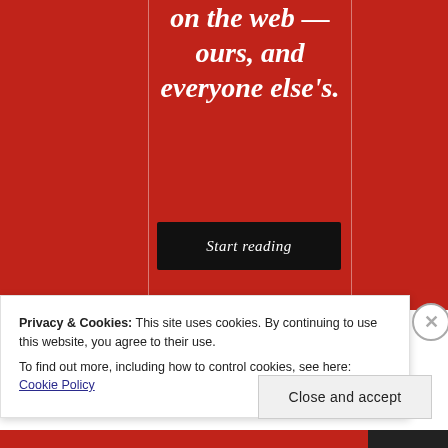[Figure (screenshot): Red background panel with italic white title text reading 'on the web — ours, and everyone else's.' and a black 'Start reading' button in the center.]
Privacy & Cookies: This site uses cookies. By continuing to use this website, you agree to their use.
To find out more, including how to control cookies, see here: Cookie Policy
Close and accept